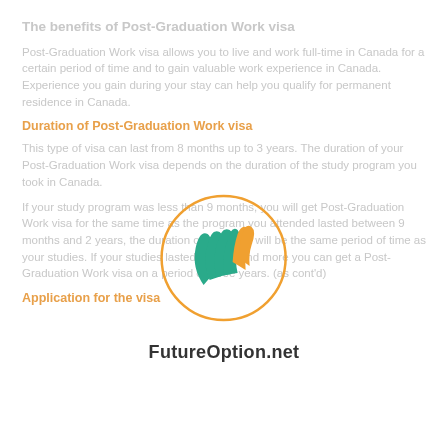The benefits of Post-Graduation Work visa
Post-Graduation Work visa allows you to live and work full-time in Canada for a certain period of time and to gain valuable work experience in Canada. Experience you gain during your stay can help you qualify for permanent residence in Canada.
Duration of Post-Graduation Work visa
This type of visa can last from 8 months up to 3 years. The duration of your Post-Graduation Work visa depends on the duration of the study program you took in Canada.
If your study program was less than 9 months, you will get Post-Graduation Work visa for the same time as the program you attended lasted between 9 months and 2 years, the duration of your visa will be the same period of time as your studies. If your studies lasted 2 years and more you can get a Post-Graduation Work visa on a period of three years. (as cont'd)
[Figure (logo): FutureOption.net logo — a hand with leaf-like fingers in teal/green, with orange accent elements, inside an orange circle outline. Below the circle: text 'FutureOption.net' in dark color.]